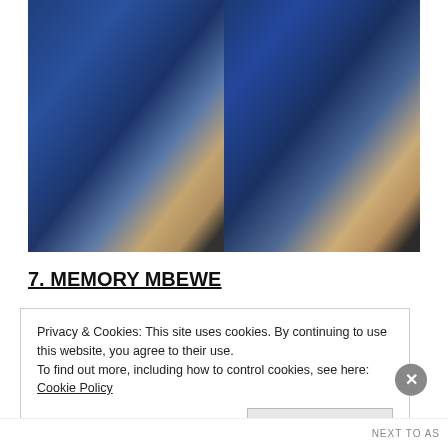[Figure (photo): Two side-by-side photos showing the lower body of a woman wearing a royal blue velvet dress with a high slit and black strappy heeled sandals, photographed outdoors.]
7. MEMORY MBEWE
Privacy & Cookies: This site uses cookies. By continuing to use this website, you agree to their use.
To find out more, including how to control cookies, see here: Cookie Policy
Close and accept